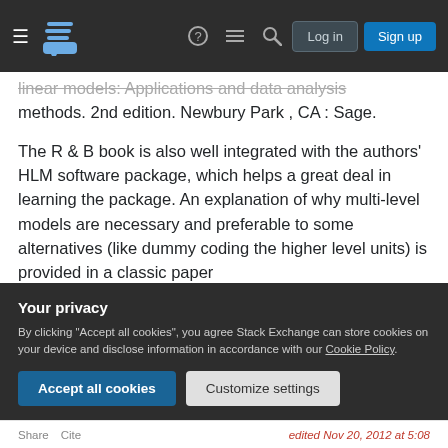Stack Exchange navigation bar with hamburger menu, logo, help, chat, search icons, Log in and Sign up buttons
linear models: Applications and data analysis methods. 2nd edition. Newbury Park , CA : Sage.
The R & B book is also well integrated with the authors' HLM software package, which helps a great deal in learning the package. An explanation of why multi-level models are necessary and preferable to some alternatives (like dummy coding the higher level units) is provided in a classic paper
Hoffman, D.A. (1997). An overview of the logic and rationale of Hierachical Linear Models. Journal of
Your privacy
By clicking "Accept all cookies", you agree Stack Exchange can store cookies on your device and disclose information in accordance with our Cookie Policy.
Accept all cookies   Customize settings
Share  Cite    edited Nov 20, 2012 at 5:08